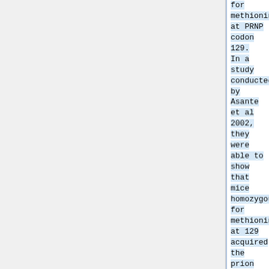for methionine at PRNP codon 129. In a study conducted by Asante et al 2002, they were able to show that mice homozygous for methionine at 129 acquired the prion disease after inoculation with BSE. Amongst the